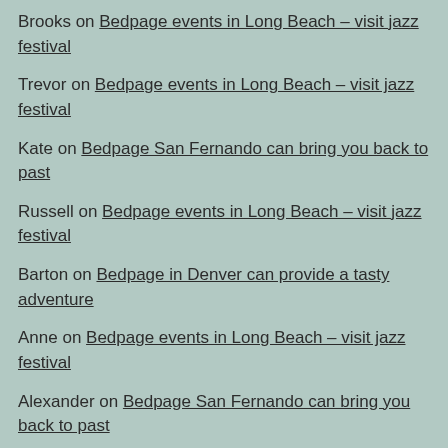Brooks on Bedpage events in Long Beach – visit jazz festival
Trevor on Bedpage events in Long Beach – visit jazz festival
Kate on Bedpage San Fernando can bring you back to past
Russell on Bedpage events in Long Beach – visit jazz festival
Barton on Bedpage in Denver can provide a tasty adventure
Anne on Bedpage events in Long Beach – visit jazz festival
Alexander on Bedpage San Fernando can bring you back to past